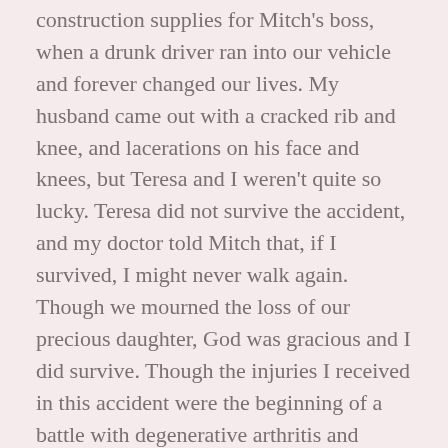construction supplies for Mitch's boss, when a drunk driver ran into our vehicle and forever changed our lives. My husband came out with a cracked rib and knee, and lacerations on his face and knees, but Teresa and I weren't quite so lucky. Teresa did not survive the accident, and my doctor told Mitch that, if I survived, I might never walk again. Though we mourned the loss of our precious daughter, God was gracious and I did survive. Though the injuries I received in this accident were the beginning of a battle with degenerative arthritis and neuropathy, I was able to walk without assistance for many years.
In 1977, our daughter Amy was born, and when she was four years old I was able to return to teaching, this time in a pre-kindergarten and kindergarten program our church started. The following summer our son